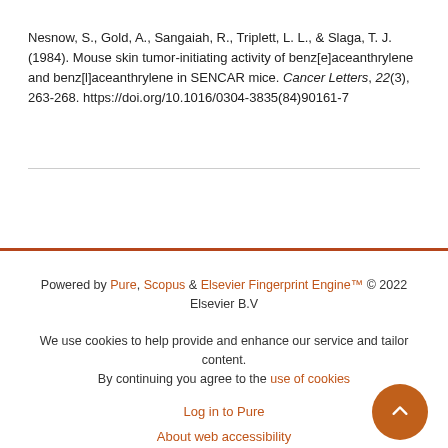Nesnow, S., Gold, A., Sangaiah, R., Triplett, L. L., & Slaga, T. J. (1984). Mouse skin tumor-initiating activity of benz[e]aceanthrylene and benz[l]aceanthrylene in SENCAR mice. Cancer Letters, 22(3), 263-268. https://doi.org/10.1016/0304-3835(84)90161-7
Powered by Pure, Scopus & Elsevier Fingerprint Engine™ © 2022 Elsevier B.V

We use cookies to help provide and enhance our service and tailor content. By continuing you agree to the use of cookies

Log in to Pure

About web accessibility